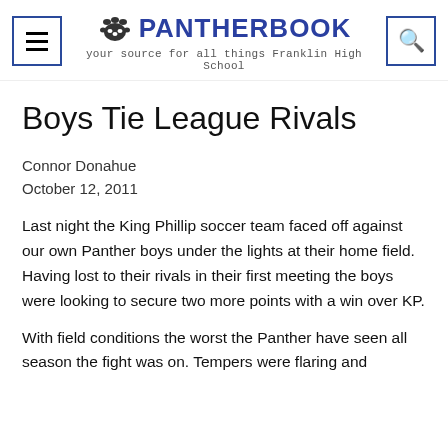PANTHERBOOK — your source for all things Franklin High School
Boys Tie League Rivals
Connor Donahue
October 12, 2011
Last night the King Phillip soccer team faced off against our own Panther boys under the lights at their home field. Having lost to their rivals in their first meeting the boys were looking to secure two more points with a win over KP.
With field conditions the worst the Panther have seen all season the fight was on. Tempers were flaring and